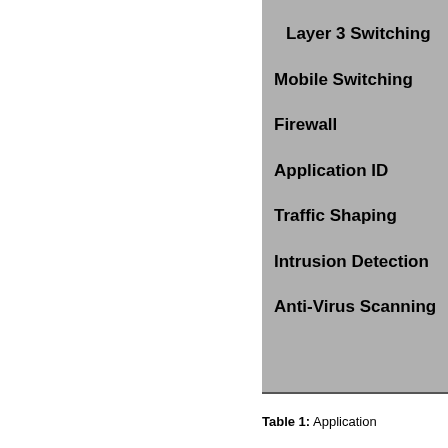Layer 3 Switching
Mobile Switching
Firewall
Application ID
Traffic Shaping
Intrusion Detection
Anti-Virus Scanning
Table 1: Application